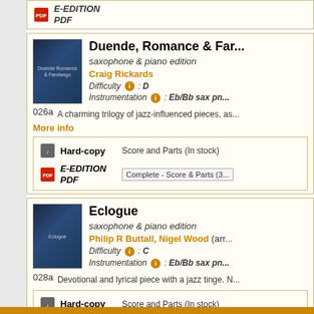E-EDITION PDF
Duende, Romance & Far...
saxophone & piano edition
Craig Rickards
Difficulty : D
Instrumentation : Eb/Bb sax pn...
026a  A charming trilogy of jazz-influenced pieces, as...
More info
Hard-copy  Score and Parts (In stock)
E-EDITION PDF  Complete - Score & Parts (3...
Eclogue
saxophone & piano edition
Philip R Buttall, Nigel Wood (arr...
Difficulty : C
Instrumentation : Eb/Bb sax pn...
028a  Devotional and lyrical piece with a jazz tinge. N...
Hard-copy  Score and Parts (In stock)
E-EDITION PDF  Complete - Score & Parts (1...
Back